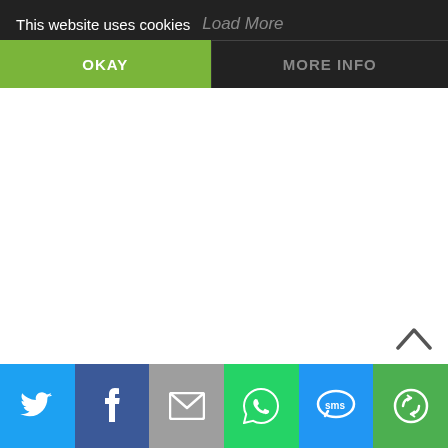This website uses cookies
Load More
OKAY
MORE INFO
[Figure (screenshot): White empty content area]
[Figure (other): Chevron/caret up arrow icon]
[Figure (infographic): Social share bar with Twitter, Facebook, Email, WhatsApp, SMS, and Share icons]